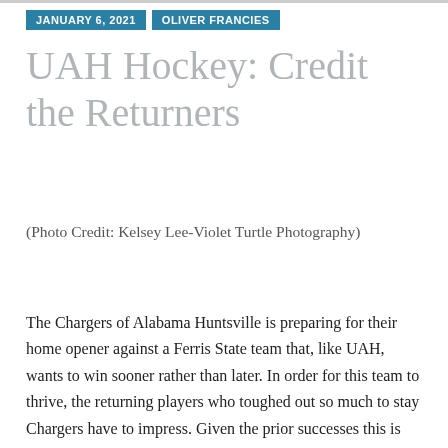JANUARY 6, 2021   OLIVER FRANCIES
UAH Hockey: Credit the Returners
(Photo Credit: Kelsey Lee-Violet Turtle Photography)
The Chargers of Alabama Huntsville is preparing for their home opener against a Ferris State team that, like UAH, wants to win sooner rather than later. In order for this team to thrive, the returning players who toughed out so much to stay Chargers have to impress. Given the prior successes this is...